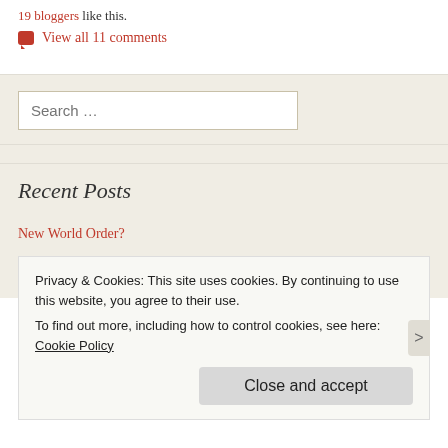19 bloggers like this.
View all 11 comments
Search …
Recent Posts
New World Order?
Launch America – SpaceX & NASA Working Together
Privacy & Cookies: This site uses cookies. By continuing to use this website, you agree to their use. To find out more, including how to control cookies, see here: Cookie Policy
Close and accept